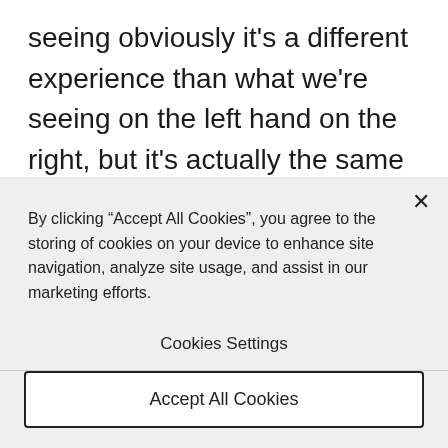seeing obviously it's a different experience than what we're seeing on the left hand on the right, but it's actually the same experience. It will be a bit unique every time. But I think that's one of the most exciting parts of it. You're talking about these things like occlusion, those are not out-of-the-box features. But in Unity MARS, those
By clicking “Accept All Cookies”, you agree to the storing of cookies on your device to enhance site navigation, analyze site usage, and assist in our marketing efforts.
Cookies Settings
Accept All Cookies